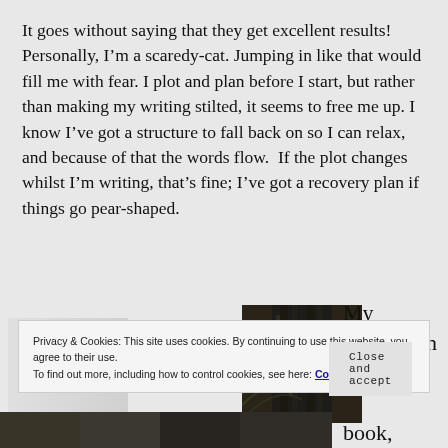It goes without saying that they get excellent results! Personally, I'm a scaredy-cat. Jumping in like that would fill me with fear. I plot and plan before I start, but rather than making my writing stilted, it seems to free me up. I know I've got a structure to fall back on so I can relax, and because of that the words flow.  If the plot changes whilst I'm writing, that's fine; I've got a recovery plan if things go pear-shaped.
[Figure (photo): Partial view of a dark building/architecture photo cropped at bottom of page, with a faint pale area to the left]
My inspiration for
Privacy & Cookies: This site uses cookies. By continuing to use this website, you agree to their use.
To find out more, including how to control cookies, see here: Cookie Policy
Close and accept
[Figure (photo): Bottom strip photo, dark toned image]
book,